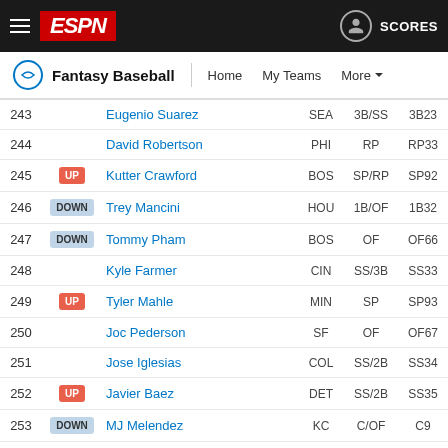ESPN Fantasy Baseball Rankings
| # |  | Player | Team | Pos | Rank |
| --- | --- | --- | --- | --- | --- |
| 243 |  | Eugenio Suarez | SEA | 3B/SS | 3B23 |
| 244 |  | David Robertson | PHI | RP | RP33 |
| 245 | UP | Kutter Crawford | BOS | SP/RP | SP92 |
| 246 | DOWN | Trey Mancini | HOU | 1B/OF | 1B32 |
| 247 | DOWN | Tommy Pham | BOS | OF | OF66 |
| 248 |  | Kyle Farmer | CIN | SS/3B | SS33 |
| 249 | UP | Tyler Mahle | MIN | SP | SP93 |
| 250 |  | Joc Pederson | SF | OF | OF67 |
| 251 |  | Jose Iglesias | COL | SS/2B | SS34 |
| 252 | UP | Javier Baez | DET | SS/2B | SS35 |
| 253 | DOWN | MJ Melendez | KC | C/OF | C9 |
| 254 |  | Kevin Newman | PIT | SS/2B | SS36 |
| 255 | DOWN | Byron Buxton | MIN | OF | OF69 |